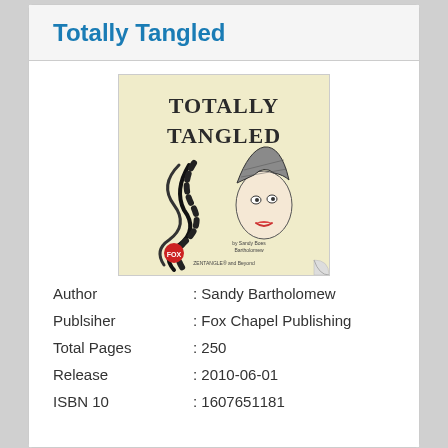Totally Tangled
[Figure (illustration): Book cover of 'Totally Tangled' showing a stylized decorative lettering of the title with an illustrated woman's face wearing an ornate hat, tangled flowing ribbons and patterns. By Sandy Bartholomew. ZENTANGLE and Beyond text visible at bottom.]
Author : Sandy Bartholomew
Publsiher : Fox Chapel Publishing
Total Pages : 250
Release : 2010-06-01
ISBN 10 : 1607651181